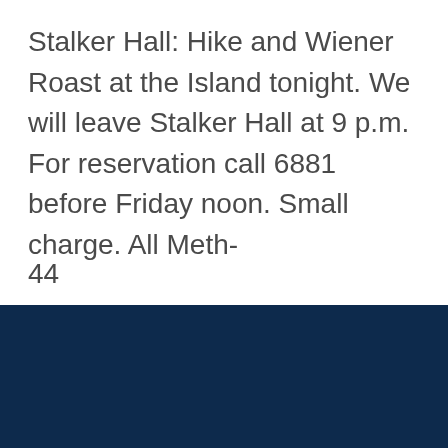Stalker Hall: Hike and Wiener Roast at the Island tonight. We will leave Stalker Hall at 9 p.m. For reservation call 6881 before Friday noon. Small charge. All Meth-
44
Help
Home
© 2022 Regents of the University of